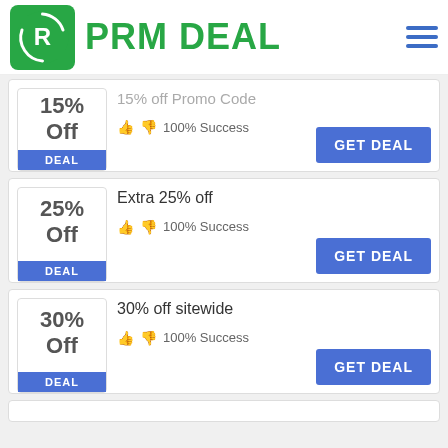PRM DEAL
15% Off — 15% off Promo Code — 100% Success
Extra 25% off — 25% Off — 100% Success
30% off sitewide — 30% Off — 100% Success